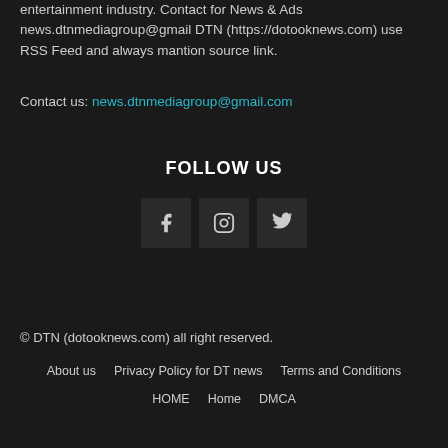entertainment industry. Contact for News & Ads news.dtnmediagroup@gmail DTN (https://dotooknews.com) use RSS Feed and always mantion source link.
Contact us: news.dtnmediagroup@gmail.com
FOLLOW US
[Figure (illustration): Three social media icon buttons: Facebook (f), Instagram, Twitter]
© DTN (dotooknews.com) all right reserved.
About us | Privacy Policy for DT news | Terms and Conditions | HOME | Home | DMCA